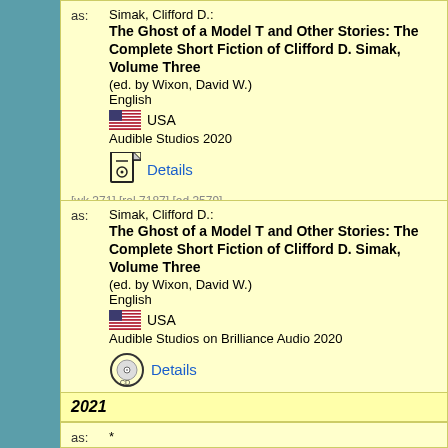as: Simak, Clifford D.: The Ghost of a Model T and Other Stories: The Complete Short Fiction of Clifford D. Simak, Volume Three (ed. by Wixon, David W.) English USA Audible Studios 2020 Details [wk 371] [rel 7187] [ed 3579]
as: Simak, Clifford D.: The Ghost of a Model T and Other Stories: The Complete Short Fiction of Clifford D. Simak, Volume Three (ed. by Wixon, David W.) English USA Audible Studios on Brilliance Audio 2020 Details [wk 371] [rel 7230] [ed 3586]
2021
as: * Russian in: Saymak, Klifford: Vse lovushki Zemli [Vse lovushki Zemli]